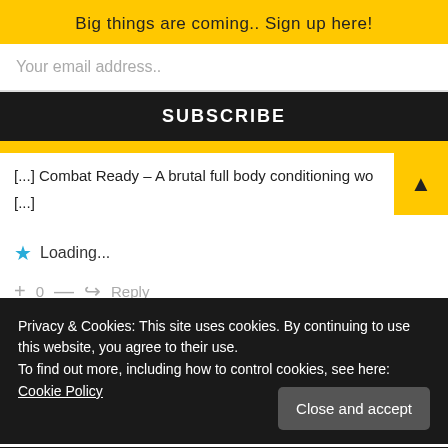Big things are coming.. Sign up here!
Your email address..
SUBSCRIBE
[...] Combat Ready – A brutal full body conditioning wo [...]
★  Loading...
+ 0 —  ↪  Reply
Privacy & Cookies: This site uses cookies. By continuing to use this website, you agree to their use.
To find out more, including how to control cookies, see here: Cookie Policy
Close and accept
Crossfit for Bodybuilding? Enter The H-WOD